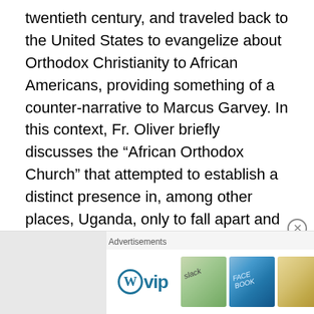twentieth century, and traveled back to the United States to evangelize about Orthodox Christianity to African Americans, providing something of a counter-narrative to Marcus Garvey. In this context, Fr. Oliver briefly discusses the “African Orthodox Church” that attempted to establish a distinct presence in, among other places, Uganda, only to fall apart and eventually become Greek Orthodox. He then studies the conversion of Fr. Moses Berry, who identified his experience as a black American with the experience of late antique Egyptian Christianity, and eventually became Orthodox via a path that included the Holy Order of Mans. Finally, he spends two chapters on the Evangelical Orthodox Church, who would notably join
Advertisements
[Figure (other): WordPress VIP advertisement banner with logo and Learn more button, alongside colorful brand imagery including Slack and Facebook logos]